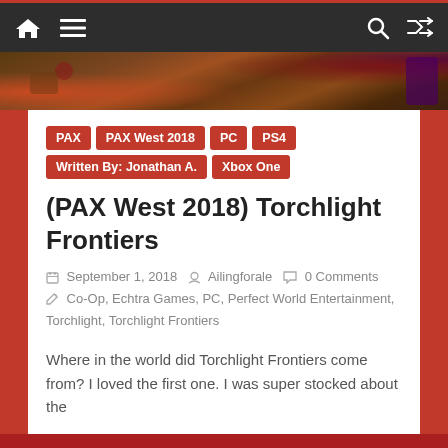Navigation bar with home, menu, search, and shuffle icons
[Figure (photo): Hero image with colorful game-themed background (browns, reds, purple character)]
PAX
PAX West 2018
PC
PS4
Written By: Jonathan A.
Xbox One
(PAX West 2018) Torchlight Frontiers
September 1, 2018  Ailingforale  0 Comments  Co-Op, Echtra Games, PC, Perfect World Entertainment, Torchlight, Torchlight Frontiers
Where in the world did Torchlight Frontiers come from? I loved the first one. I was super stocked about the
Read more